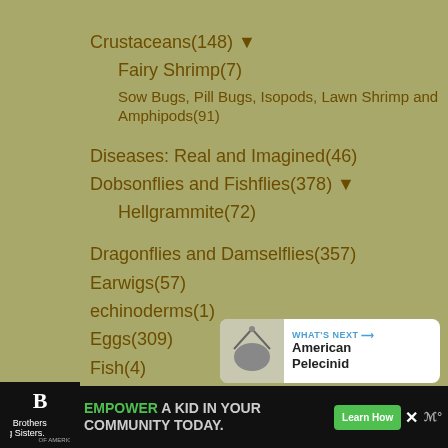Crustaceans(148) ▼
Fairy Shrimp(7)
Sow Bugs, Pill Bugs, Isopods, Lawn Shrimp and Amphipods(91)
Diseases: Real and Imagined(46)
Dobsonflies and Fishflies(378) ▼
Hellgrammite(72)
Dragonflies and Damselflies(357)
Earwigs(57)
echinoderms(1)
Eggs(309)
Fish(4)
Fleas(15)
Flies(1849) ▼
Bathroom Flies(19)
Bee Flies(114)
Beetle Flies(1)
Big Headed Flies(1)
Black Flies(?)